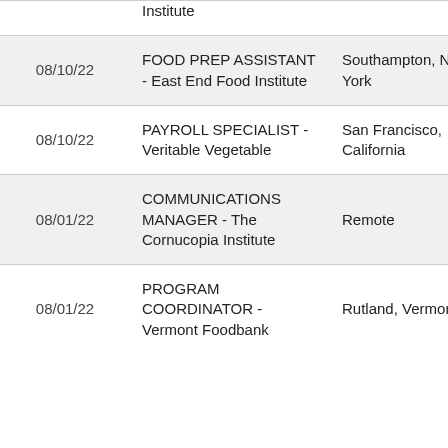| Date | Position | Location | Category |
| --- | --- | --- | --- |
|  | Institute |  |  |
| 08/10/22 | FOOD PREP ASSISTANT - East End Food Institute | Southampton, New York | Progr Opera |
| 08/10/22 | PAYROLL SPECIALIST - Veritable Vegetable | San Francisco, California | Huma Resou |
| 08/01/22 | COMMUNICATIONS MANAGER - The Cornucopia Institute | Remote | Commu & Soc |
| 08/01/22 | PROGRAM COORDINATOR - Vermont Foodbank | Rutland, Vermont | Progr Opera |